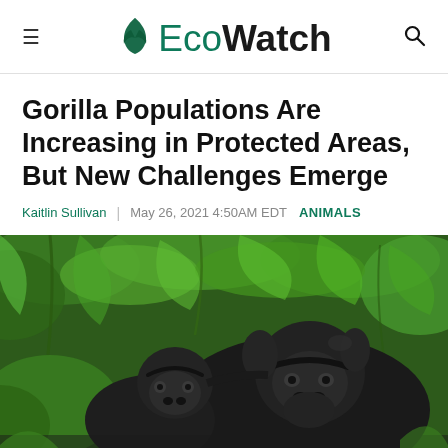EcoWatch
Gorilla Populations Are Increasing in Protected Areas, But New Challenges Emerge
Kaitlin Sullivan | May 26, 2021 4:50AM EDT  ANIMALS
[Figure (photo): A baby gorilla nuzzling close to an adult gorilla, both black-furred, surrounded by green tropical vegetation.]